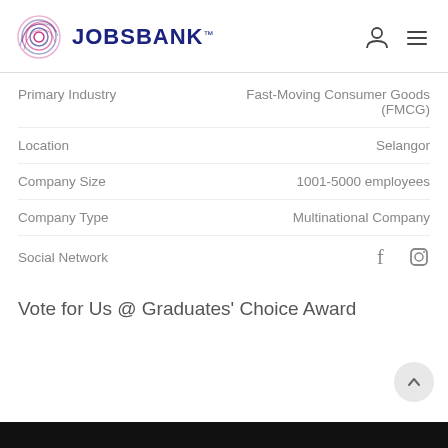JOBSBANK™
| Field | Value |
| --- | --- |
| Primary Industry | Fast-Moving Consumer Goods (FMCG) |
| Location | Selangor |
| Company Size | 1001-5000 employees |
| Company Type | Multinational Company |
| Social Network | f  (instagram) |
Vote for Us @ Graduates' Choice Award